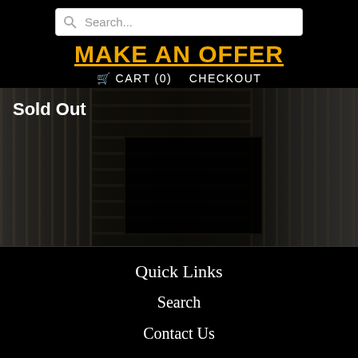Search... | MAKE AN OFFER | 🛒 CART (0)  CHECKOUT
[Figure (photo): Dark grayscale photo of barn interior with wooden plank walls and door, 'Sold Out' text overlay]
Quick Links
Search
Contact Us
About Us